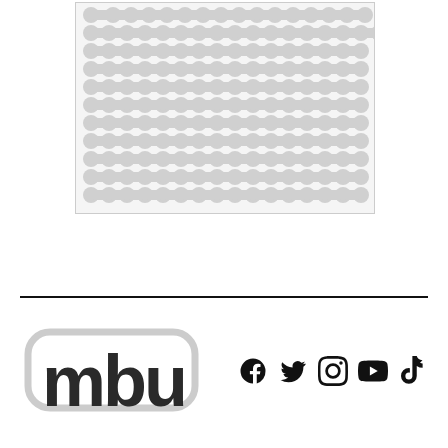[Figure (illustration): Decorative repeating pattern of rounded dumbbell/peanut shapes in light gray on white background, arranged in a grid, contained in a rectangular bordered box]
[Figure (logo): MTU logo with stylized lowercase 'mbu' letters in bold dark rounded font with white outline/stroke effect]
[Figure (illustration): Social media icons row: Facebook, Twitter/X, Instagram, YouTube, TikTok - all in black]